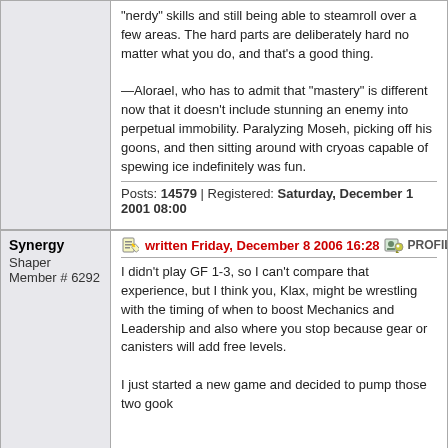"nerdy" skills and still being able to steamroll over a few areas. The hard parts are deliberately hard no matter what you do, and that's a good thing.

—Alorael, who has to admit that "mastery" is different now that it doesn't include stunning an enemy into perpetual immobility. Paralyzing Moseh, picking off his goons, and then sitting around with cryoas capable of spewing ice indefinitely was fun.
Posts: 14579 | Registered: Saturday, December 1 2001 08:00
Synergy
Shaper
Member # 6292
written Friday, December 8 2006 16:28   PROFILE   #21
I didn't play GF 1-3, so I can't compare that experience, but I think you, Klax, might be wrestling with the timing of when to boost Mechanics and Leadership and also where you stop because gear or canisters will add free levels.

I just started a new game and decided to pump those two gook